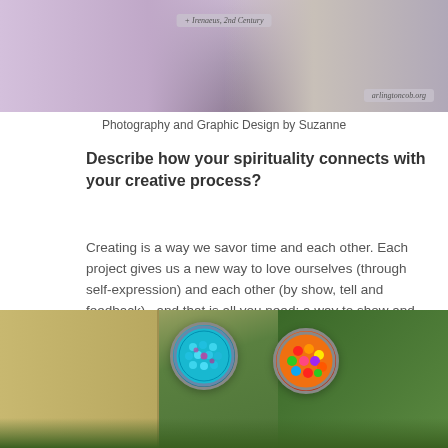[Figure (photo): Top portion of a photo showing a girl with blonde hair, with text overlays '+ Irenaeus, 2nd Century' and 'arlingtoncob.org']
Photography and Graphic Design by Suzanne
Describe how your spirituality connects with your creative process?
Creating is a way we savor time and each other. Each project gives us a new way to love ourselves (through self-expression) and each other (by show, tell and feedback),  and that is all you need: a way to show and share God’s love!
[Figure (photo): Two bowls of colorful beads on grass — left bowl contains blue/teal beads, right bowl contains multicolored beads in orange, red, purple, yellow, green]